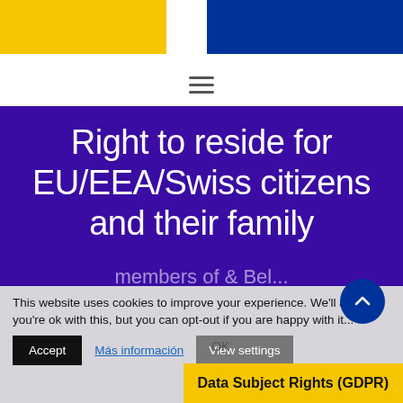[Figure (other): Website header with yellow block on left and blue block on right]
[Figure (other): Hamburger menu icon (three horizontal lines)]
Right to reside for EU/EEA/Swiss citizens and their family
This website uses cookies to improve your experience. We'll assume you're ok with this, but you can opt-out if you are happy with it...
Accept | Más información | View settings
Data Subject Rights (GDPR)